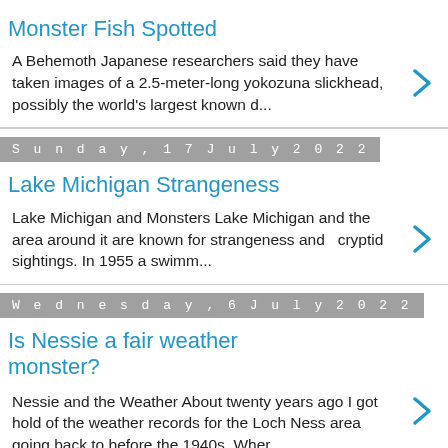Monster Fish Spotted
A Behemoth Japanese researchers said they have taken images of a 2.5-meter-long yokozuna slickhead, possibly the world's largest known d...
Sunday, 17 July 2022
Lake Michigan Strangeness
Lake Michigan and Monsters Lake Michigan and the area around it are known for strangeness and  cryptid sightings. In 1955 a swimm...
Wednesday, 6 July 2022
Is Nessie a fair weather monster?
Nessie and the Weather About twenty years ago I got hold of the weather records for the Loch Ness area going back to before the 1940s. Wher...
1 comment:
Thursday, 30 June 2022